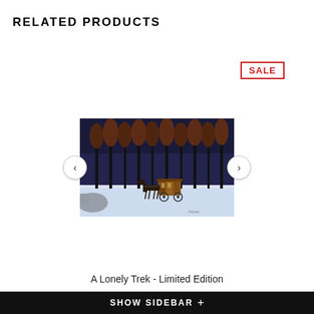RELATED PRODUCTS
SALE
[Figure (photo): A winter landscape painting showing a horse-drawn carriage traveling through a snow-covered path lined with dark bare trees against a twilight sky. Navigation arrows (< and >) on either side of the image.]
A Lonely Trek - Limited Edition
SHOW SIDEBAR +